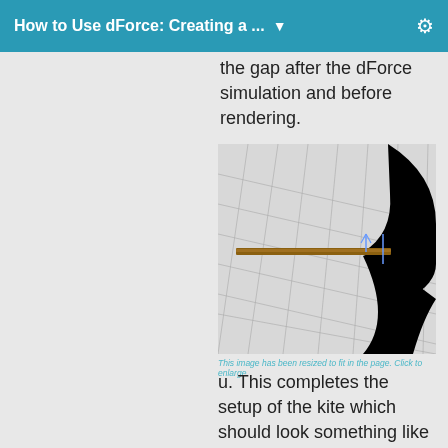How to Use dForce: Creating a ... ▼
the gap after the dForce simulation and before rendering.
[Figure (screenshot): A 3D viewport screenshot showing a grid floor with a horizontal wooden stick/rod object and a large black curved shape (possibly a kite frame or bow) in the upper right corner. Blue axis indicators are visible near the stick.]
This image has been resized to fit in the page. Click to enlarge.
u. This completes the setup of the kite which should look something like this: